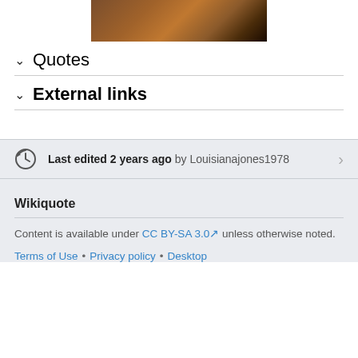[Figure (photo): Partial photo of a wooden surface or door, brown tones]
Quotes
External links
Last edited 2 years ago by Louisianajones1978
Wikiquote
Content is available under CC BY-SA 3.0 unless otherwise noted.
Terms of Use • Privacy policy • Desktop